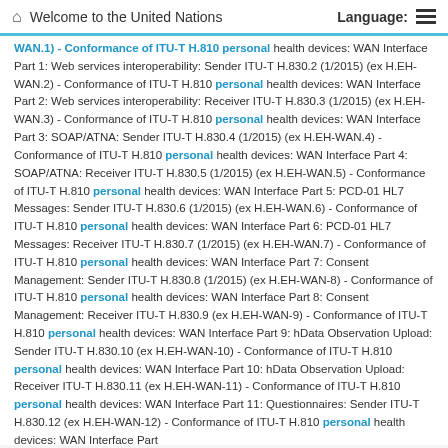Welcome to the United Nations | Language:
WAN.1) - Conformance of ITU-T H.810 personal health devices: WAN Interface Part 1: Web services interoperability: Sender ITU-T H.830.2 (1/2015) (ex H.EH-WAN.2) - Conformance of ITU-T H.810 personal health devices: WAN Interface Part 2: Web services interoperability: Receiver ITU-T H.830.3 (1/2015) (ex H.EH-WAN.3) - Conformance of ITU-T H.810 personal health devices: WAN Interface Part 3: SOAP/ATNA: Sender ITU-T H.830.4 (1/2015) (ex H.EH-WAN.4) - Conformance of ITU-T H.810 personal health devices: WAN Interface Part 4: SOAP/ATNA: Receiver ITU-T H.830.5 (1/2015) (ex H.EH-WAN.5) - Conformance of ITU-T H.810 personal health devices: WAN Interface Part 5: PCD-01 HL7 Messages: Sender ITU-T H.830.6 (1/2015) (ex H.EH-WAN.6) - Conformance of ITU-T H.810 personal health devices: WAN Interface Part 6: PCD-01 HL7 Messages: Receiver ITU-T H.830.7 (1/2015) (ex H.EH-WAN.7) - Conformance of ITU-T H.810 personal health devices: WAN Interface Part 7: Consent Management: Sender ITU-T H.830.8 (1/2015) (ex H.EH-WAN-8) - Conformance of ITU-T H.810 personal health devices: WAN Interface Part 8: Consent Management: Receiver ITU-T H.830.9 (ex H.EH-WAN-9) - Conformance of ITU-T H.810 personal health devices: WAN Interface Part 9: hData Observation Upload: Sender ITU-T H.830.10 (ex H.EH-WAN-10) - Conformance of ITU-T H.810 personal health devices: WAN Interface Part 10: hData Observation Upload: Receiver ITU-T H.830.11 (ex H.EH-WAN-11) - Conformance of ITU-T H.810 personal health devices: WAN Interface Part 11: Questionnaires: Sender ITU-T H.830.12 (ex H.EH-WAN-12) - Conformance of ITU-T H.810 personal health devices: WAN Interface Part